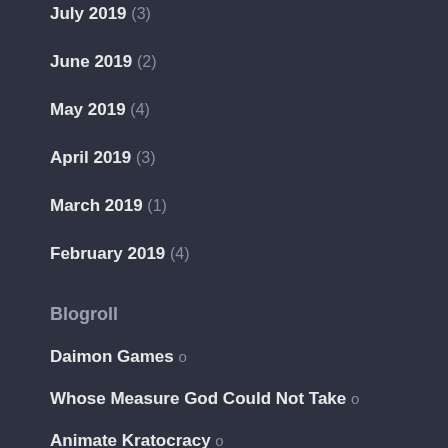July 2019 (3)
June 2019 (2)
May 2019 (4)
April 2019 (3)
March 2019 (1)
February 2019 (4)
Blogroll
Daimon Games o
Whose Measure God Could Not Take o
Animate Kratocracy o
New School Revolution o
Space Crawl o